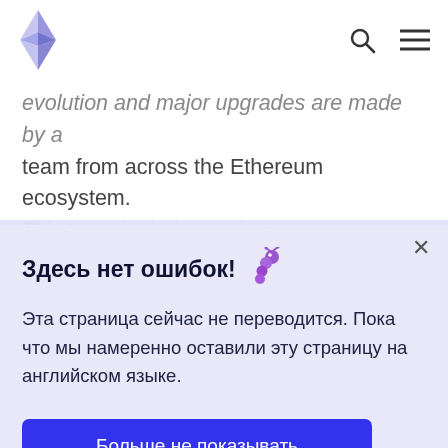[Figure (logo): Ethereum logo - diamond shaped crystal icon with purple/blue facets]
[Figure (other): Search icon (magnifying glass) and hamburger menu icon]
evolution and major upgrades are made by a team from across the Ethereum ecosystem. This team includes project managers, developers, designers, marketing and communications, and subject matter experts.
[Figure (other): Close (X) button for notification]
Здесь нет ошибок! 🐛
Эта страница сейчас не переводится. Пока что мы намеренно оставили эту страницу на английском языке.
Больше не показывать